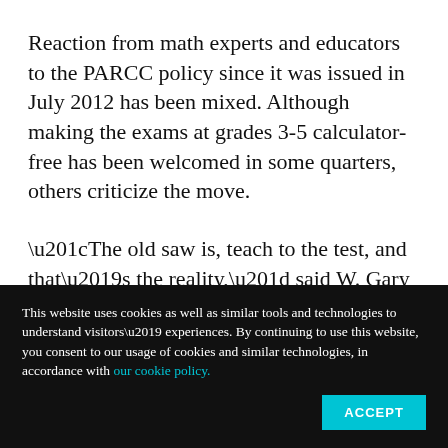Reaction from math experts and educators to the PARCC policy since it was issued in July 2012 has been mixed. Although making the exams at grades 3-5 calculator-free has been welcomed in some quarters, others criticize the move.
“The old saw is, teach to the test, and that’s the reality,” said W. Gary Martin, a professor of
This website uses cookies as well as similar tools and technologies to understand visitors’ experiences. By continuing to use this website, you consent to our usage of cookies and similar technologies, in accordance with our cookie policy.